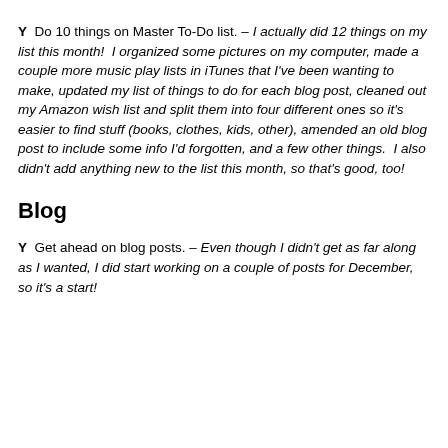Y  Do 10 things on Master To-Do list. – I actually did 12 things on my list this month!  I organized some pictures on my computer, made a couple more music play lists in iTunes that I've been wanting to make, updated my list of things to do for each blog post, cleaned out my Amazon wish list and split them into four different ones so it's easier to find stuff (books, clothes, kids, other), amended an old blog post to include some info I'd forgotten, and a few other things.  I also didn't add anything new to the list this month, so that's good, too!
Blog
Y  Get ahead on blog posts. – Even though I didn't get as far along as I wanted, I did start working on a couple of posts for December, so it's a start!